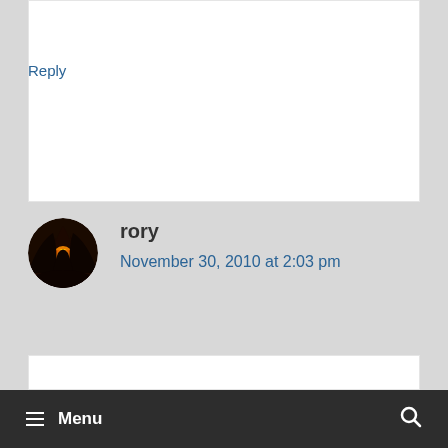Reply
rory
November 30, 2010 at 2:03 pm
Yeah, you'd think those German's would have a feel-good attitude towards work and play since they're so carefree in how they approach life. Oh wait…
≡ Menu